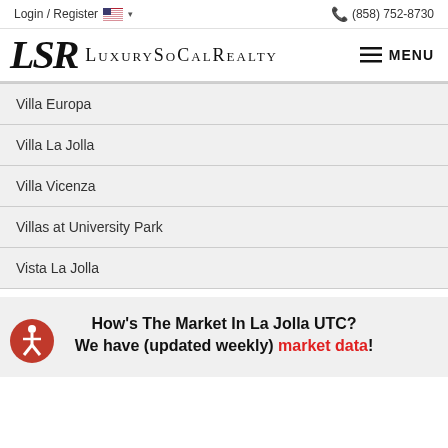Login / Register  🇺🇸 ∨    (858) 752-8730
[Figure (logo): LSR LuxurySoCalRealty logo with hamburger MENU button]
Villa Europa
Villa La Jolla
Villa Vicenza
Villas at University Park
Vista La Jolla
How's The Market In La Jolla UTC? We have (updated weekly) market data!